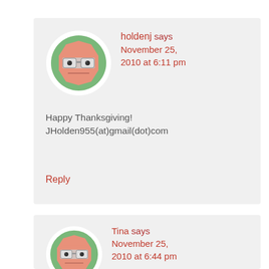[Figure (illustration): Avatar icon: cartoon face with glasses on green circle background]
holdenj says November 25, 2010 at 6:11 pm
Happy Thanksgiving! JHolden955(at)gmail(dot)com
Reply
[Figure (illustration): Avatar icon: cartoon face with glasses on green circle background]
Tina says November 25, 2010 at 6:44 pm